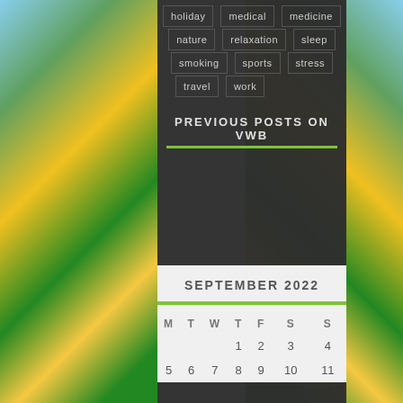[Figure (photo): Sunflower field background with blue sky, green leaves and yellow sunflowers on left and right sides]
holiday
medical
medicine
nature
relaxation
sleep
smoking
sports
stress
travel
work
PREVIOUS POSTS ON VWB
| M | T | W | T | F | S | S |
| --- | --- | --- | --- | --- | --- | --- |
|  |  |  | 1 | 2 | 3 | 4 |
| 5 | 6 | 7 | 8 | 9 | 10 | 11 |